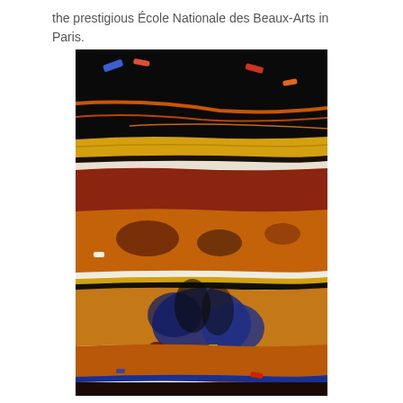the prestigious École Nationale des Beaux-Arts in Paris.
[Figure (illustration): Abstract painting with bold horizontal bands of color — black at top with scattered blue and orange marks, followed by bands of golden yellow, white, deep red-brown, orange, and blue tones. The composition suggests a landscape abstracted into layered strata with expressive brushwork in ochres, reds, blues, and blacks.]